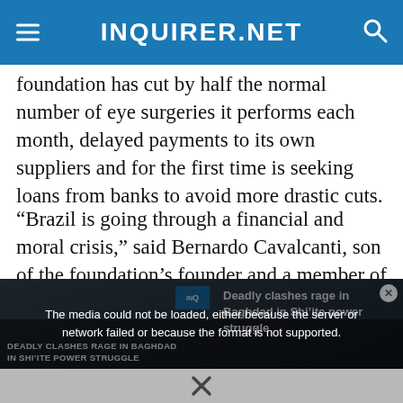INQUIRER.NET
foundation has cut by half the normal number of eye surgeries it performs each month, delayed payments to its own suppliers and for the first time is seeking loans from banks to avoid more drastic cuts.
“Brazil is going through a financial and moral crisis,” said Bernardo Cavalcanti, son of the foundation’s founder and a member of its board.
[Figure (screenshot): Video player area showing a news video thumbnail with crowd/clashes imagery. Overlay text reads: DEADLY CLASHES RAGE IN BAGHDAD IN SHI'ITE POWER STRUGGLE. A media error message reads: The media could not be loaded, either because the server or network failed or because the format is not supported. Sidebar text: Deadly clashes rage in Baghdad in Shi'ite power struggle. Close button (x) at bottom center.]